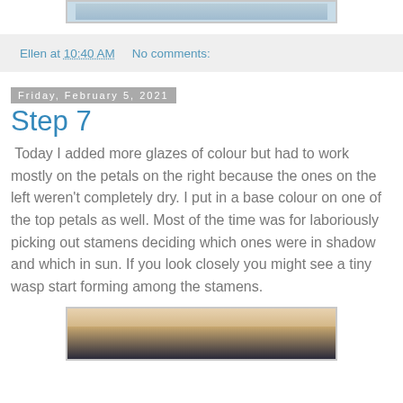[Figure (photo): Top portion of a painting in a frame, partially visible at top of page]
Ellen at 10:40 AM    No comments:
Friday, February 5, 2021
Step 7
Today I added more glazes of colour but had to work mostly on the petals on the right because the ones on the left weren't completely dry. I put in a base colour on one of the top petals as well. Most of the time was for laboriously picking out stamens deciding which ones were in shadow and which in sun. If you look closely you might see a tiny wasp start forming among the stamens.
[Figure (photo): Bottom portion of a painting in a frame, partially visible at bottom of page]